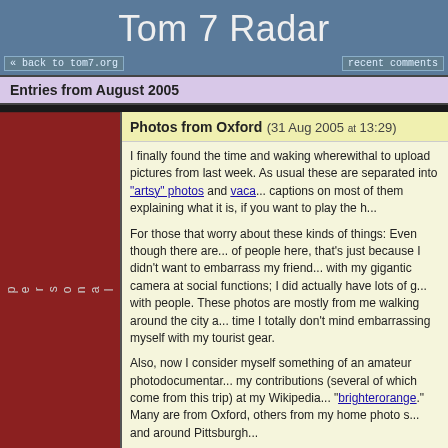Tom 7 Radar
<< back to tom7.org    recent comments
Entries from August 2005
Photos from Oxford (31 Aug 2005 at 13:29)
I finally found the time and waking wherewithal to upload pictures from last week. As usual these are separated into "artsy" photos and vaca... captions on most of them explaining what it is, if you want to play the h...
For those that worry about these kinds of things: Even though there are... of people here, that's just because I didn't want to embarrass my friend... with my gigantic camera at social functions; I did actually have lots of g... with people. These photos are mostly from me walking around the city a... time I totally don't mind embarrassing myself with my tourist gear.
Also, now I consider myself something of an amateur photodocumentar... my contributions (several of which come from this trip) at my Wikipedia... "brighterorange." Many are from Oxford, others from my home photo s... and around Pittsburgh...
I was an infinitely cold and rainy dot (25 Aug 2005 at 04:59)
I found my power adaptor—it was in my boot!—which is good because... them around here. Unfortunately I can't copy photos from my camera...